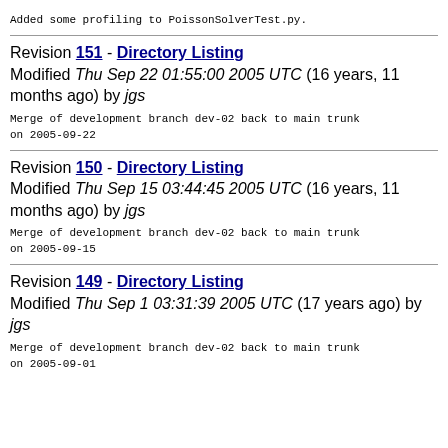Added some profiling to PoissonSolverTest.py.
Revision 151 - Directory Listing
Modified Thu Sep 22 01:55:00 2005 UTC (16 years, 11 months ago) by jgs
Merge of development branch dev-02 back to main trunk
on 2005-09-22
Revision 150 - Directory Listing
Modified Thu Sep 15 03:44:45 2005 UTC (16 years, 11 months ago) by jgs
Merge of development branch dev-02 back to main trunk
on 2005-09-15
Revision 149 - Directory Listing
Modified Thu Sep 1 03:31:39 2005 UTC (17 years ago) by jgs
Merge of development branch dev-02 back to main trunk
on 2005-09-01